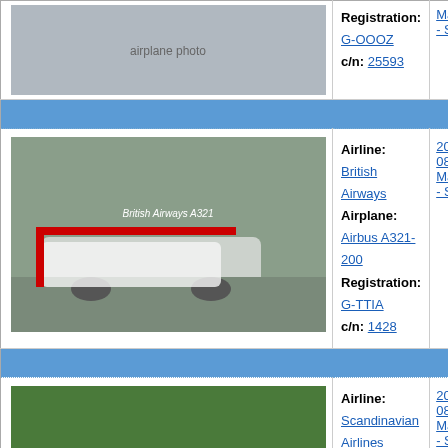| Photo | Details | Date/Location |
| --- | --- | --- |
| [airplane photo] | Registration: G-OOOZ
c/n: 25593 | Madeira - Santa |
| [separator] |  |  |
| [British Airways A321 photo] | Airline: British Airways
Airplane: Airbus A321-200
Registration: G-TTIA
c/n: 1428 | 2007-08-13
Madeira - Santa |
| [separator] |  |  |
| [SAS A321 photo] | Airline: Scandinavian Airlines (SAS)
Airplane: Airbus A321-200
Registration: LN-RKK
c/n: 1848 | 2007-08-13
Madeira - Santa |
Pages: 1 2
Total: 21
[Figure (logo): АПОРТ logo in orange bold text]
[Figure (logo): mail.ru counter badge showing 7332320 and numbers 22 and 19]
© Aviation Photo Site from Russia. Use content with permission.